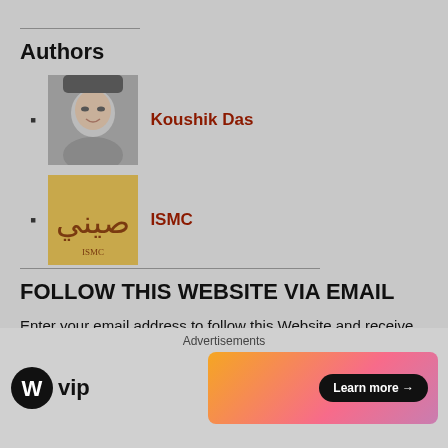Authors
Koushik Das
ISMC
FOLLOW THIS WEBSITE VIA EMAIL
Enter your email address to follow this Website and receive notifications of new posts by email.
Enter your email address
[Figure (screenshot): Advertisement section with WordPress VIP logo and a colourful gradient banner with Learn more arrow button]
Advertisements